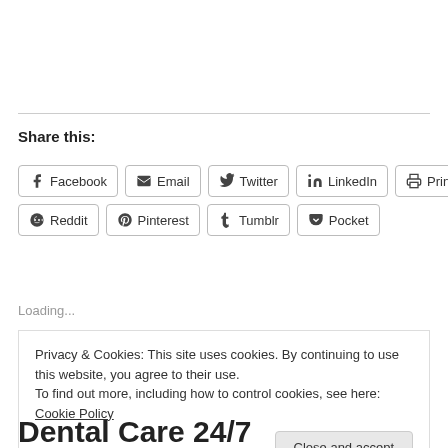Share this:
[Figure (screenshot): Social share buttons: Facebook, Email, Twitter, LinkedIn, Print, Reddit, Pinterest, Tumblr, Pocket]
Loading...
Privacy & Cookies: This site uses cookies. By continuing to use this website, you agree to their use.
To find out more, including how to control cookies, see here: Cookie Policy
Dental Care 24/7